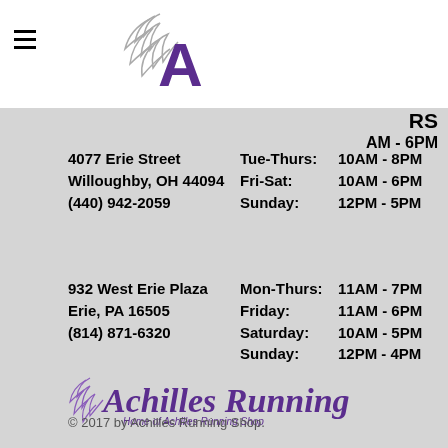[Figure (logo): Achilles Running Shop winged helmet logo in header]
4077 Erie Street
Willoughby, OH  44094
(440) 942-2059
Tue-Thurs:  10AM - 8PM
Fri-Sat:       10AM - 6PM
Sunday:       12PM - 5PM
932 West Erie Plaza
Erie, PA  16505
(814) 871-6320
Mon-Thurs:  11AM - 7PM
Friday:         11AM - 6PM
Saturday:    10AM - 5PM
Sunday:       12PM - 4PM
[Figure (logo): Achilles Running - Home of Achilles Running Shop purple logo]
© 2017 by Achilles Running Shop.